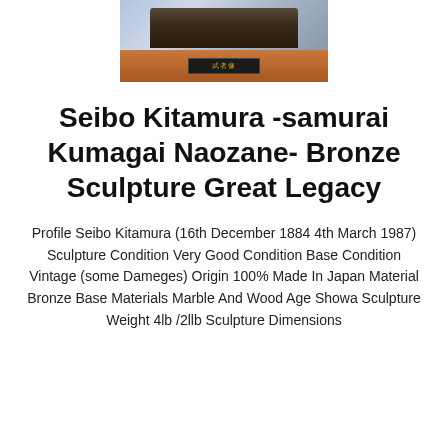[Figure (photo): Photo of a bronze samurai sculpture on a reddish-brown wood and marble base with a dark plaque bearing Japanese characters. The background is a grey-blue gradient.]
Seibo Kitamura -samurai Kumagai Naozane- Bronze Sculpture Great Legacy
Profile Seibo Kitamura (16th December 1884 4th March 1987) Sculpture Condition Very Good Condition Base Condition Vintage (some Dameges) Origin 100% Made In Japan Material Bronze Base Materials Marble And Wood Age Showa Sculpture Weight 4lb /2llb Sculpture Dimensions